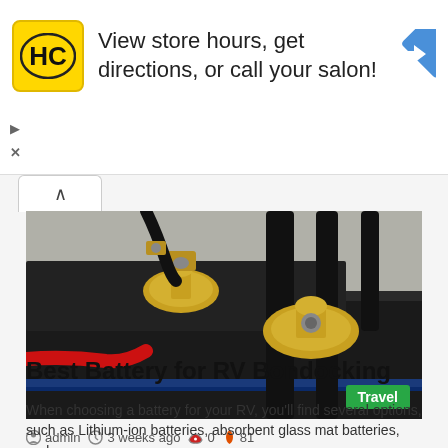[Figure (infographic): Advertisement banner with HC salon logo, text 'View store hours, get directions, or call your salon!', and a blue navigation arrow icon on the right]
[Figure (photo): Close-up photo of an RV battery with brass terminal connectors and cable clamps. Red wire visible on the left side. Black straps across the top. Travel category badge in bottom-right corner.]
admin   3 weeks ago   0   81
Best Battery for RV Bondocking
When choosing a battery for your RV, you'll find several options, such as Lithium-ion batteries, absorbent glass mat batteries, and...